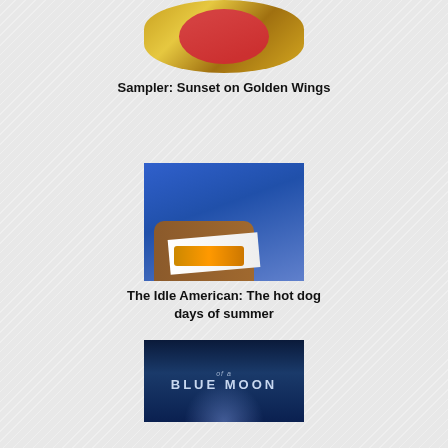[Figure (photo): Ornate golden oval mirror with red fabric visible in reflection]
Sampler: Sunset on Golden Wings
[Figure (photo): Person in blue shirt holding open box with food (hot dog)]
The Idle American: The hot dog days of summer
[Figure (photo): Book cover with text 'of a BLUE MOON' with dark atmospheric imagery]